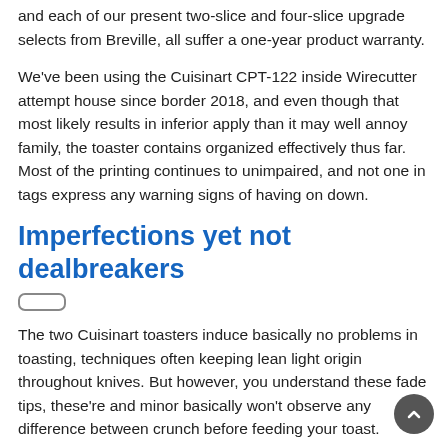and each of our present two-slice and four-slice upgrade selects from Breville, all suffer a one-year product warranty.
We've been using the Cuisinart CPT-122 inside Wirecutter attempt house since border 2018, and even though that most likely results in inferior apply than it may well annoy family, the toaster contains organized effectively thus far. Most of the printing continues to unimpaired, and not one in tags express any warning signs of having on down.
Imperfections yet not dealbreakers
The two Cuisinart toasters induce basically no problems in toasting, techniques often keeping lean light origin throughout knives. But however, you understand these fade tips, these're and minor basically won't observe any difference between crunch before feeding your toast.